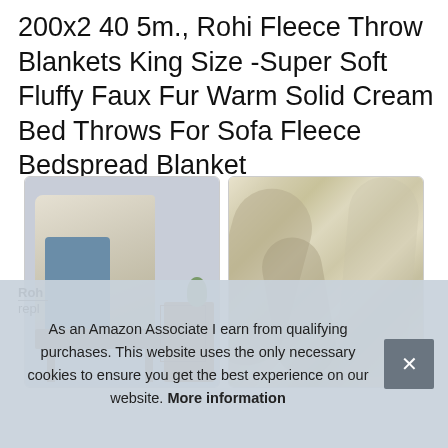200x2 40 5m., Rohi Fleece Throw Blankets King Size -Super Soft Fluffy Faux Fur Warm Solid Cream Bed Throws For Sofa Fleece Bedspread Blanket
[Figure (photo): Two product photos side by side: left shows a cream/beige blanket draped over a wooden chair with a plant and cabinet in background; right shows a close-up of the cream fleece/faux fur fabric texture.]
Roh
repl
As an Amazon Associate I earn from qualifying purchases. This website uses the only necessary cookies to ensure you get the best experience on our website. More information